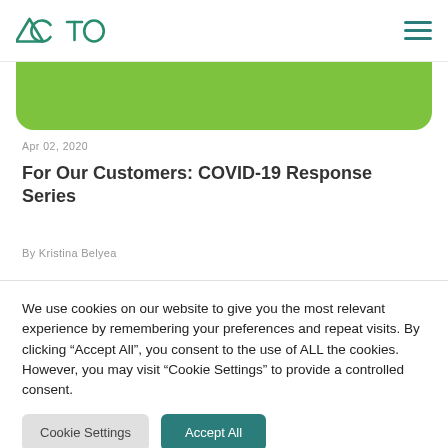ACTO (logo) | navigation hamburger menu
[Figure (illustration): Green rounded banner image (cropped at top), part of an article card]
Apr 02, 2020
For Our Customers: COVID-19 Response Series
By Kristina Belyea
Pulse                                          5 min read
We use cookies on our website to give you the most relevant experience by remembering your preferences and repeat visits. By clicking “Accept All”, you consent to the use of ALL the cookies. However, you may visit “Cookie Settings” to provide a controlled consent.
Cookie Settings | Accept All